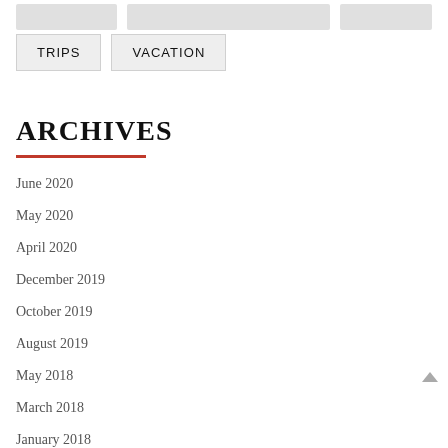TRIPS
VACATION
ARCHIVES
June 2020
May 2020
April 2020
December 2019
October 2019
August 2019
May 2018
March 2018
January 2018